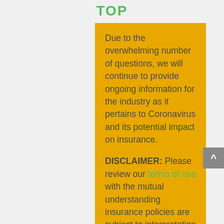TOP
Due to the overwhelming number of questions, we will continue to provide ongoing information for the industry as it pertains to Coronavirus and its potential impact on insurance.
DISCLAIMER: Please review our terms of use with the mutual understanding insurance policies are subject to interpretation at many levels. The following is not meant for insurance or legal